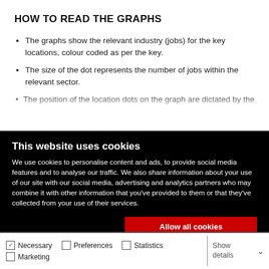HOW TO READ THE GRAPHS
The graphs show the relevant industry (jobs) for the key locations, colour coded as per the key.
The size of the dot represents the number of jobs within the relevant sector.
The position of the location dots on the graph are dictated by the
This website uses cookies
We use cookies to personalise content and ads, to provide social media features and to analyse our traffic. We also share information about your use of our site with our social media, advertising and analytics partners who may combine it with other information that you've provided to them or that they've collected from your use of their services.
Allow all cookies
Allow selection
Use necessary cookies only
Necessary   Preferences   Statistics   Marketing   Show details